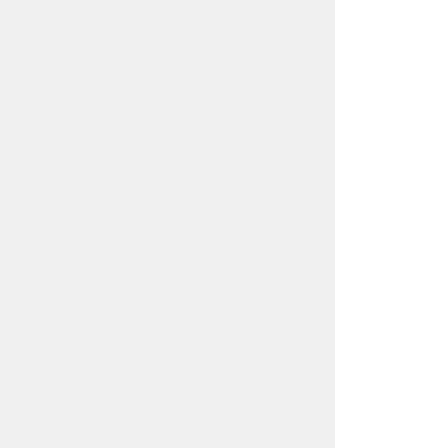nonphysical disaster loan programs, economic injury loans, strategic arms limitation loans, etc. This is shown by the fact that during fiscal year 1974 the nonphysical disaster loan program provided equipment totaling $5.4 million.
This morning we are pleased to examine the effectiveness of existing programs and to discuss ways to provide needed assistance in order...
Our first witness will be Hon. Jo... business in meeting pollution rec... assistance.
We are very, very happy to have ...
Before calling upon Mr. McFall, ...
OPENING STATEMENT OF
Mr. CONTE. I want to commend... participate in the hearings. As a b... environment, I wholeheartedly e... our hard-pressed small firms to c...
The Congress mandated that the... of inflation and recession has m...